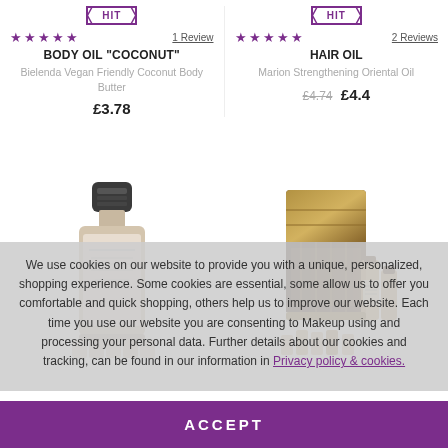[Figure (screenshot): E-commerce product listing page showing two products (Body Oil Coconut and Hair Oil) with HIT badges, star ratings, reviews, product names, subtitles, and prices, plus product bottle/box images below, overlaid by a cookie consent banner and accept button.]
HIT
★★★★★  1 Review
BODY OIL "COCONUT"
Bielenda Vegan Friendly Coconut Body Butter
£3.78
HIT
★★★★★  2 Reviews
HAIR OIL
Marion Strengthening Oriental Oil
£4.74  £4.4
We use cookies on our website to provide you with a unique, personalized, shopping experience. Some cookies are essential, some allow us to offer you comfortable and quick shopping, others help us to improve our website. Each time you use our website you are consenting to Makeup using and processing your personal data. Further details about our cookies and tracking, can be found in our information in Privacy policy & cookies.
ACCEPT